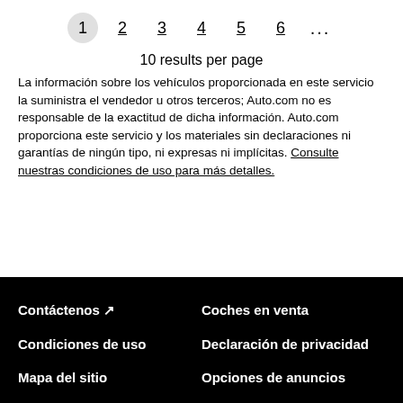[Figure (other): Pagination bar showing pages 1 (active/highlighted), 2, 3, 4, 5, 6, and ellipsis]
10 results per page
La información sobre los vehículos proporcionada en este servicio la suministra el vendedor u otros terceros; Auto.com no es responsable de la exactitud de dicha información. Auto.com proporciona este servicio y los materiales sin declaraciones ni garantías de ningún tipo, ni expresas ni implícitas. Consulte nuestras condiciones de uso para más detalles.
Contáctenos ↗
Coches en venta
Condiciones de uso
Declaración de privacidad
Mapa del sitio
Opciones de anuncios